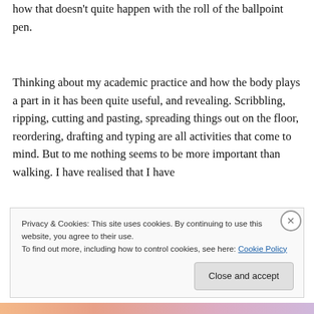how that doesn't quite happen with the roll of the ballpoint pen.
Thinking about my academic practice and how the body plays a part in it has been quite useful, and revealing. Scribbling, ripping, cutting and pasting, spreading things out on the floor, reordering, drafting and typing are all activities that come to mind. But to me nothing seems to be more important than walking. I have realised that I have
Privacy & Cookies: This site uses cookies. By continuing to use this website, you agree to their use.
To find out more, including how to control cookies, see here: Cookie Policy
Close and accept